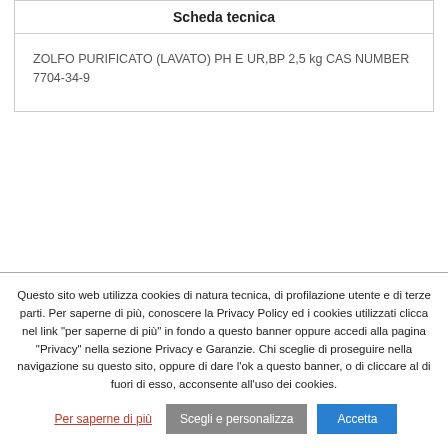Scheda tecnica
ZOLFO PURIFICATO (LAVATO) PH E UR,BP 2,5 kg CAS NUMBER 7704-34-9
Questo sito web utilizza cookies di natura tecnica, di profilazione utente e di terze parti. Per saperne di più, conoscere la Privacy Policy ed i cookies utilizzati clicca nel link "per saperne di più" in fondo a questo banner oppure accedi alla pagina "Privacy" nella sezione Privacy e Garanzie. Chi sceglie di proseguire nella navigazione su questo sito, oppure di dare l'ok a questo banner, o di cliccare al di fuori di esso, acconsente all'uso dei cookies.
Per saperne di più | Scegli e personalizza | Accetta